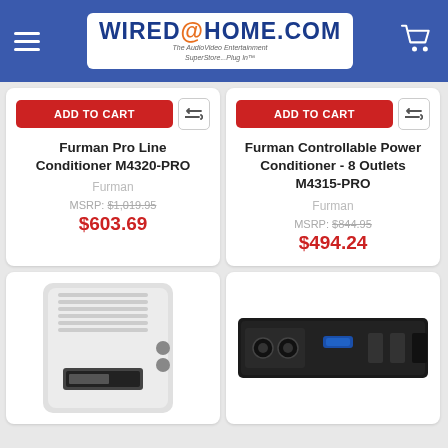[Figure (logo): Wired@Home.com logo with orange @ symbol and tagline 'The AudioVideo Entertainment SuperStore...Plug In']
ADD TO CART
Furman Pro Line Conditioner M4320-PRO
Furman
MSRP: $1,019.95
$603.69
ADD TO CART
Furman Controllable Power Conditioner - 8 Outlets M4315-PRO
Furman
MSRP: $844.95
$494.24
[Figure (photo): White power conditioner unit with vented top and small display]
[Figure (photo): Black rack-mounted power conditioner unit with blue LED]